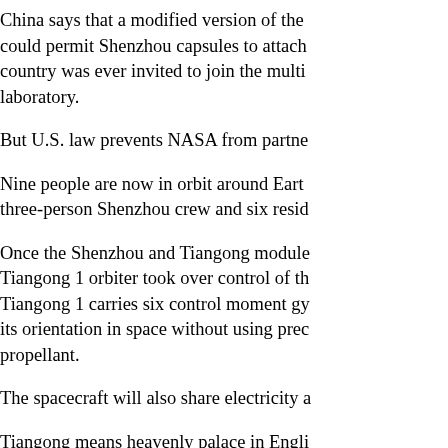China says that a modified version of the could permit Shenzhou capsules to attach country was ever invited to join the multi laboratory.
But U.S. law prevents NASA from partne
Nine people are now in orbit around Earth three-person Shenzhou crew and six resid
Once the Shenzhou and Tiangong module Tiangong 1 orbiter took over control of th Tiangong 1 carries six control moment gy its orientation in space without using prec propellant.
The spacecraft will also share electricity a
Tiangong means heavenly palace in Engli is translated as divine craft.
China plans to launch larger Tiangong mo few years with more advanced life suppor for the construction of a large space static NASA's 1970s-era Skylab complex.